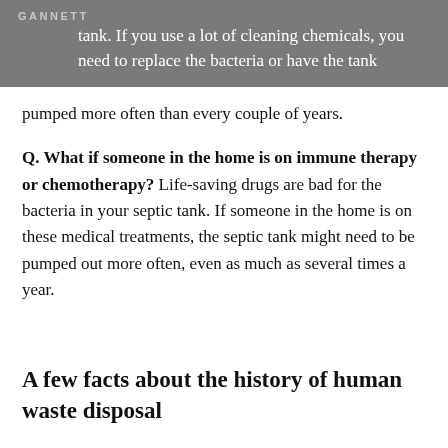GANNETT
tank. If you use a lot of cleaning chemicals, you need to replace the bacteria or have the tank
pumped more often than every couple of years.
Q. What if someone in the home is on immune therapy or chemotherapy? Life-saving drugs are bad for the bacteria in your septic tank. If someone in the home is on these medical treatments, the septic tank might need to be pumped out more often, even as much as several times a year.
A few facts about the history of human waste disposal